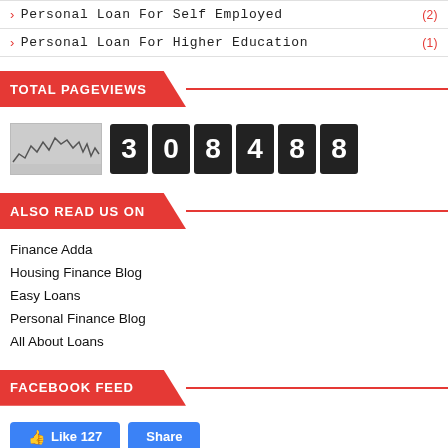Personal Loan For Self Employed (2)
Personal Loan For Higher Education (1)
TOTAL PAGEVIEWS
[Figure (other): Pageview counter showing sparkline chart and digital counter displaying 308488]
ALSO READ US ON
Finance Adda
Housing Finance Blog
Easy Loans
Personal Finance Blog
All About Loans
FACEBOOK FEED
[Figure (screenshot): Facebook Like button showing 127 likes and Share button]